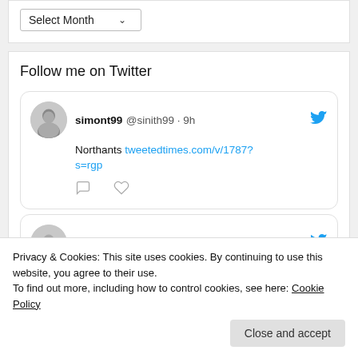[Figure (screenshot): A 'Select Month' dropdown widget with a downward chevron arrow]
Follow me on Twitter
[Figure (screenshot): Tweet by simont99 @sinith99 · 9h: Northants tweetedtimes.com/v/1787?s=rgp with reply and like icons]
[Figure (screenshot): Partial tweet card by simont99 @sinith99 · 9h with Twitter bird icon]
Privacy & Cookies: This site uses cookies. By continuing to use this website, you agree to their use.
To find out more, including how to control cookies, see here: Cookie Policy